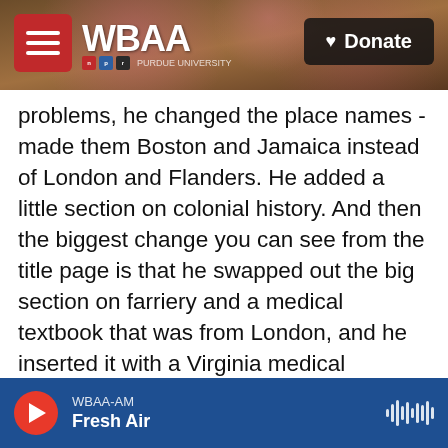WBAA | NPR | Donate
problems, he changed the place names - made them Boston and Jamaica instead of London and Flanders. He added a little section on colonial history. And then the biggest change you can see from the title page is that he swapped out the big section on farriery and a medical textbook that was from London, and he inserted it with a Virginia medical handbook from 1734 called "Every Man His Own Doctor: The Poor Planter's Physician."
FENG: And what was in that section of the book?
FARRELL: So that's what I was most interested in.
WBAA-AM | Fresh Air